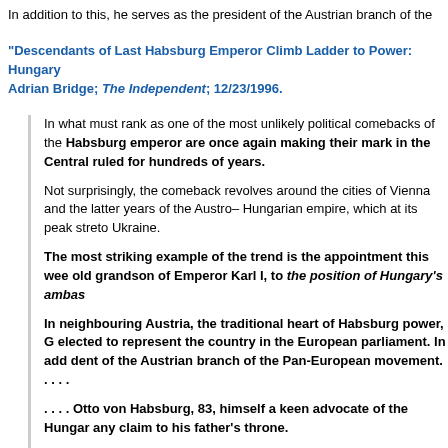In addition to this, he serves as the president of the Austrian branch of the
"Descendants of Last Habsburg Emperor Climb Ladder to Power: Hungary Adrian Bridge; The Independent; 12/23/1996.
In what must rank as one of the most unlikely political comebacks of the Habsburg emperor are once again making their mark in the Central ruled for hundreds of years.

Not surprisingly, the comeback revolves around the cities of Vienna and the latter years of the Austro– Hungarian empire, which at its peak streto Ukraine.

The most striking example of the trend is the appointment this wee old grandson of Emperor Karl I, to the position of Hungary's ambas

In neighbouring Austria, the traditional heart of Habsburg power, G elected to represent the country in the European parliament. In add dent of the Austrian branch of the Pan-European movement. . . . .

. . . . Otto von Habsburg, 83, himself a keen advocate of the Hungar any claim to his father's throne.

But the same is not true of all the members of the family. Before his in October, Georg von Habsburg's older brother, Karl, refused to be the issue.